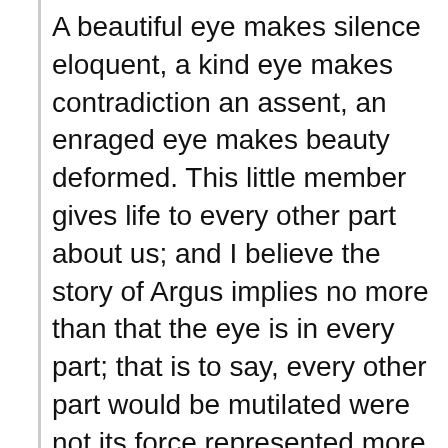A beautiful eye makes silence eloquent, a kind eye makes contradiction an assent, an enraged eye makes beauty deformed. This little member gives life to every other part about us; and I believe the story of Argus implies no more than that the eye is in every part; that is to say, every other part would be mutilated were not its force represented more by the eye than even by itself.
—Joseph Addison (1672–1719) ENGLISH ESSAYIST, POET, PLAYWRIGHT, POLITICIAN